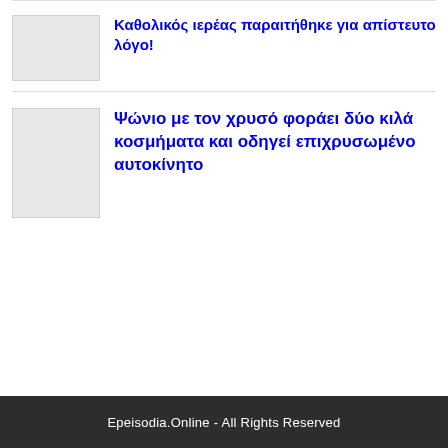Καθολικός ιερέας παραιτήθηκε για απίστευτο λόγο!
Ψώνιο με τον χρυσό φοράει δύο κιλά κοσμήματα και οδηγεί επιχρυσωμένο αυτοκίνητο
Epeisodia.Online - All Rights Reserved